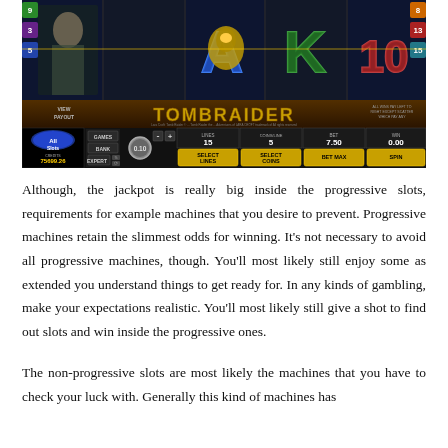[Figure (screenshot): Screenshot of Tomb Raider slot machine game at All Slots casino, showing reels with card symbols (A, K, 10), game controls including lines (15), coins/line (5), bet (7.50), win (0.00), and credits of 75699.26]
Although, the jackpot is really big inside the progressive slots, requirements for example machines that you desire to prevent. Progressive machines retain the slimmest odds for winning. It’s not necessary to avoid all progressive machines, though. You’ll most likely still enjoy some as extended you understand things to get ready for. In any kinds of gambling, make your expectations realistic. You’ll most likely still give a shot to find out slots and win inside the progressive ones.
The non-progressive slots are most likely the machines that you have to check your luck with. Generally this kind of machines has